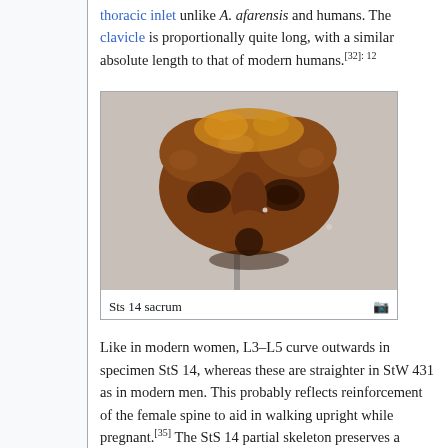thoracic inlet unlike A. afarensis and humans. The clavicle is proportionally quite long, with a similar absolute length to that of modern humans.[32]: 12
[Figure (photo): Photo of the Sts 14 sacrum fossil, a reddish-brown fossilized bone displayed on a stand against a grey background.]
Sts 14 sacrum
Like in modern women, L3–L5 curve outwards in specimen StS 14, whereas these are straighter in StW 431 as in modern men. This probably reflects reinforcement of the female spine to aid in walking upright while pregnant.[35] The StS 14 partial skeleton preserves a